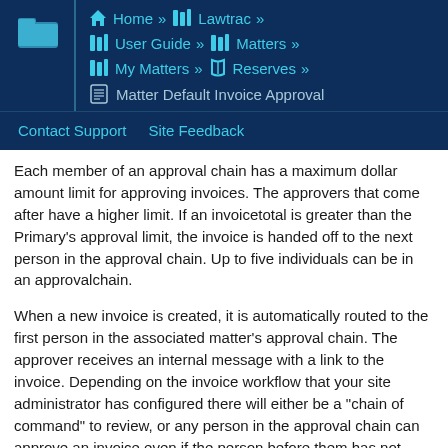Home » Lawtrac » User Guide » Matters » My Matters » Reserves » Matter Default Invoice Approval
Contact Support   Site Feedback
Each member of an approval chain has a maximum dollar amount limit for approving invoices. The approvers that come after have a higher limit. If an invoicetotal is greater than the Primary's approval limit, the invoice is handed off to the next person in the approval chain. Up to five individuals can be in an approvalchain.
When a new invoice is created, it is automatically routed to the first person in the associated matter's approval chain. The approver receives an internal message with a link to the invoice. Depending on the invoice workflow that your site administrator has configured there will either be a "chain of command" to review, or any person in the approval chain can approve an invoice even if the person before them has not reviewed it. When Workflow option 1 ("Rejection of an invoice will end the approval chain") is turned on